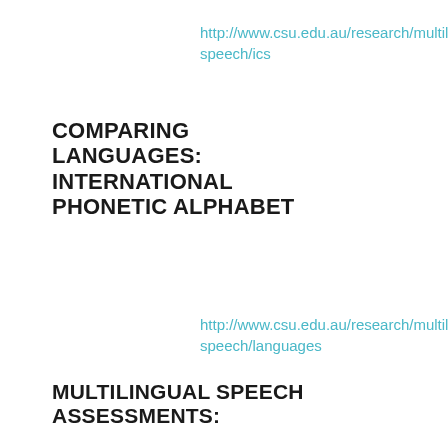http://www.csu.edu.au/research/multiling
speech/ics
COMPARING LANGUAGES: INTERNATIONAL PHONETIC ALPHABET
http://www.csu.edu.au/research/multiling
speech/languages
MULTILINGUAL SPEECH ASSESSMENTS:
http://www.csu.edu.au/research/multiling
speech/speech-assessments
INFORMATION ABOUT